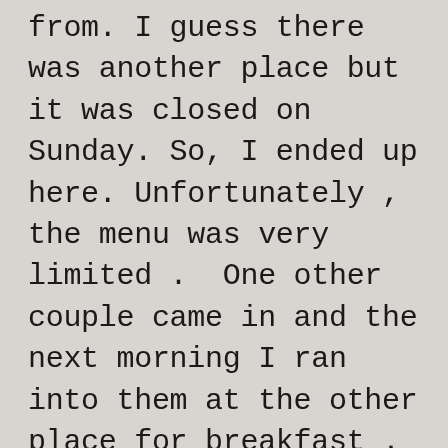from. I guess there was another place but it was closed on Sunday. So, I ended up here. Unfortunately , the menu was very limited .  One other couple came in and the next morning I ran into them at the other place for breakfast . We ended up sitting together and talking and laughing about our experience at the International. It wasn't just the food, but the waitress was , well, it was like she was someplace else. As well as the place being quite messy. Just a strange experience. Breakfast was at another